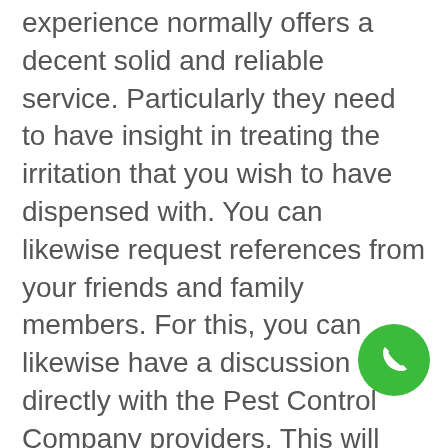experience normally offers a decent solid and reliable service. Particularly they need to have insight in treating the irritation that you wish to have dispensed with. You can likewise request references from your friends and family members. For this, you can likewise have a discussion directly with the Pest Control Company providers. This will give you a short thought regarding their services, their value, their contributions, and what the customer service and technician are like first hand.
Schedule regular appointments. To wrap this up, follow the process to change…
[Figure (illustration): Green circular phone call button icon in the bottom-right corner]